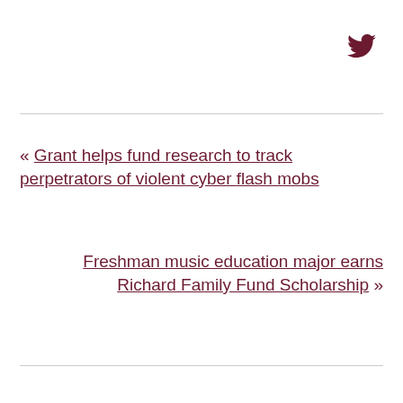[Figure (logo): Twitter bird icon in dark red/maroon color]
« Grant helps fund research to track perpetrators of violent cyber flash mobs
Freshman music education major earns Richard Family Fund Scholarship »